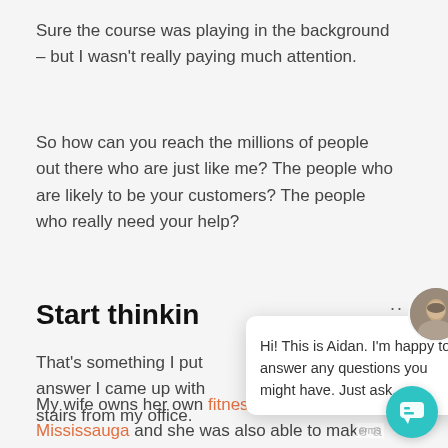Sure the course was playing in the background – but I wasn't really paying much attention.
So how can you reach the millions of people out there who are just like me? The people who are likely to be your customers? The people who really need your help?
Start thinkin
That's something I put answer I came up with stairs from my office.
[Figure (screenshot): Chat popup from Aidan saying: Hi! This is Aidan. I'm happy to answer any questions you might have. Just ask. With avatar photo and close button.]
My wife owns her own fitness company here in Mississauga and she was also able to make a qu pivot to online services back at the beginning of the